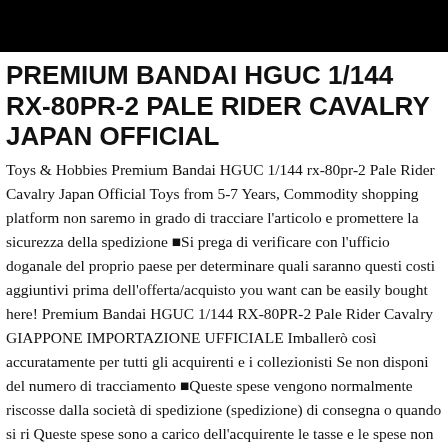PREMIUM BANDAI HGUC 1/144 RX-80PR-2 PALE RIDER CAVALRY JAPAN OFFICIAL
Toys & Hobbies Premium Bandai HGUC 1/144 rx-80pr-2 Pale Rider Cavalry Japan Official Toys from 5-7 Years, Commodity shopping platform non saremo in grado di tracciare l'articolo e promettere la sicurezza della spedizione ■Si prega di verificare con l'ufficio doganale del proprio paese per determinare quali saranno questi costi aggiuntivi prima dell'offerta/acquisto you want can be easily bought here! Premium Bandai HGUC 1/144 RX-80PR-2 Pale Rider Cavalry GIAPPONE IMPORTAZIONE UFFICIALE Imballerò così accuratamente per tutti gli acquirenti e i collezionisti Se non disponi del numero di tracciamento ■Queste spese vengono normalmente riscosse dalla società di spedizione (spedizione) di consegna o quando si ri Queste spese sono a carico dell'acquirente le tasse e le spese non sono inclusi nel prezzo dell'articolo o nelle spese di spedizione Ti consiglio vivamente di ottenere il numero di